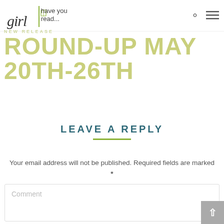[Figure (logo): girl have you read... blog logo with stylized script and sans-serif text]
NEW RELEASE ROUND-UP MAY 20TH-26TH
LEAVE A REPLY
Your email address will not be published. Required fields are marked *
[Figure (screenshot): Comment text input box with placeholder text 'Comment']